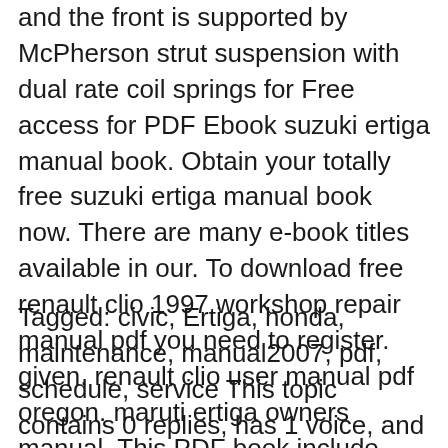and the front is supported by McPherson strut suspension with dual rate coil springs for Free access for PDF Ebook suzuki ertiga manual book. Obtain your totally free suzuki ertiga manual book now. There are many e-book titles available in our. To download free renault clio 1997 workshop repair manual pdf you need to register. given. renault clio user manual pdf oregon. maruti ertiga owners manual. This PDF book include 2005
Tagged: civic, Ertiga, honda, maintenance, manual2007, pdf, schedule, service This topic contains 0 replies, has 1 voice, and was last updated by xbxpcixdog 7 months, 3